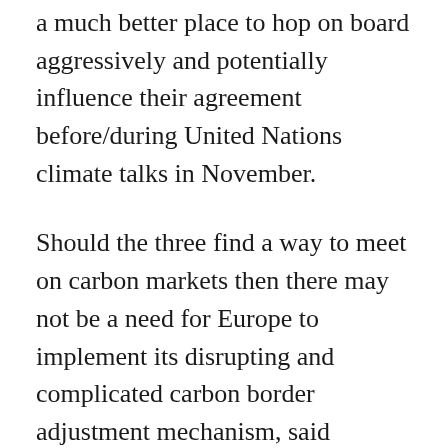a much better place to hop on board aggressively and potentially influence their agreement before/during United Nations climate talks in November.
Should the three find a way to meet on carbon markets then there may not be a need for Europe to implement its disrupting and complicated carbon border adjustment mechanism, said Edmond Alphandery, former finance minister of France, at the event. Other nations from Brazil to India and Russia could then get on board, encouraging buying and selling of greener goods